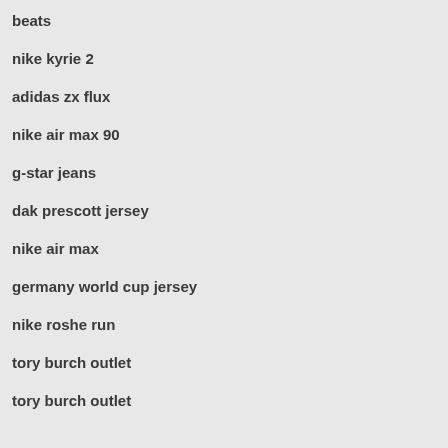beats
nike kyrie 2
adidas zx flux
nike air max 90
g-star jeans
dak prescott jersey
nike air max
germany world cup jersey
nike roshe run
tory burch outlet
tory burch outlet